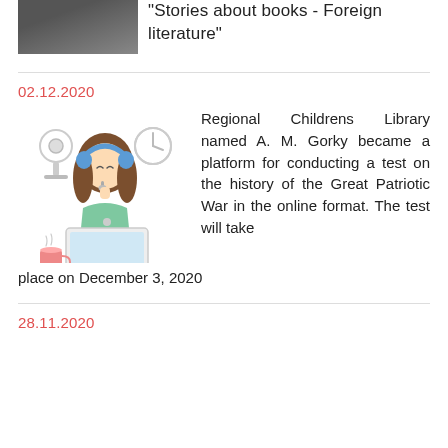[Figure (photo): Partial photo of a person at the top left corner]
"Stories about books - Foreign literature"
02.12.2020
[Figure (illustration): Illustration of a girl with headphones sitting at a laptop with a webcam and clock in the background]
Regional Childrens Library named A. M. Gorky became a platform for conducting a test on the history of the Great Patriotic War in the online format. The test will take place on December 3, 2020
28.11.2020